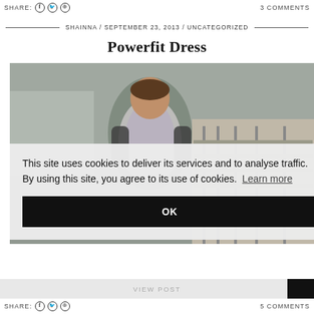SHARE: [facebook] [twitter] [pinterest]   3 COMMENTS
SHAINNA / SEPTEMBER 23, 2013 / UNCATEGORIZED
Powerfit Dress
[Figure (photo): Woman in a floral/patterned bodycon dress with dark cardigan, posing outdoors near railway tracks]
This site uses cookies to deliver its services and to analyse traffic. By using this site, you agree to its use of cookies. Learn more
OK
VIEW POST
SHARE: [facebook] [twitter] [pinterest]   5 COMMENTS